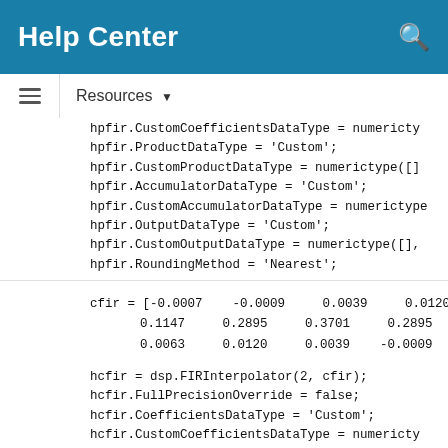Help Center
Resources ▼
hpfir.CustomCoefficientsDataType = numericty...
hpfir.ProductDataType = 'Custom';
hpfir.CustomProductDataType = numerictype([]
hpfir.AccumulatorDataType = 'Custom';
hpfir.CustomAccumulatorDataType = numerictype...
hpfir.OutputDataType = 'Custom';
hpfir.CustomOutputDataType = numerictype([],.
hpfir.RoundingMethod = 'Nearest';
cfir = [-0.0007    -0.0009     0.0039     0.0120
         0.1147     0.2895     0.3701     0.2895
         0.0063     0.0120     0.0039    -0.0009
hcfir = dsp.FIRInterpolator(2, cfir);
hcfir.FullPrecisionOverride = false;
hcfir.CoefficientsDataType = 'Custom';
hcfir.CustomCoefficientsDataType = numericty...
hcfir.ProductDataType = 'Custom';
hcfir.CustomProductDataType = numerictype([...